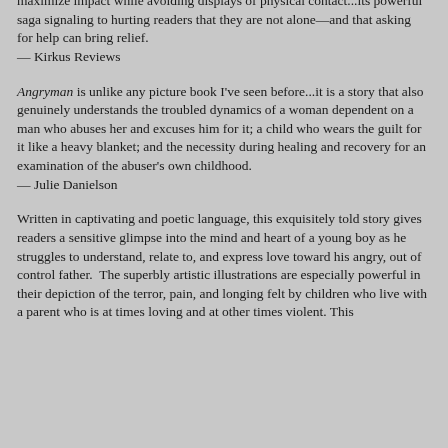maximize impact while avoiding displays of physical contact...its powerful saga signaling to hurting readers that they are not alone—and that asking for help can bring relief.
— Kirkus Reviews
Angryman is unlike any picture book I've seen before...it is a story that also genuinely understands the troubled dynamics of a woman dependent on a man who abuses her and excuses him for it; a child who wears the guilt for it like a heavy blanket; and the necessity during healing and recovery for an examination of the abuser's own childhood.
— Julie Danielson
Written in captivating and poetic language, this exquisitely told story gives readers a sensitive glimpse into the mind and heart of a young boy as he struggles to understand, relate to, and express love toward his angry, out of control father.  The superbly artistic illustrations are especially powerful in their depiction of the terror, pain, and longing felt by children who live with a parent who is at times loving and at other times violent. This